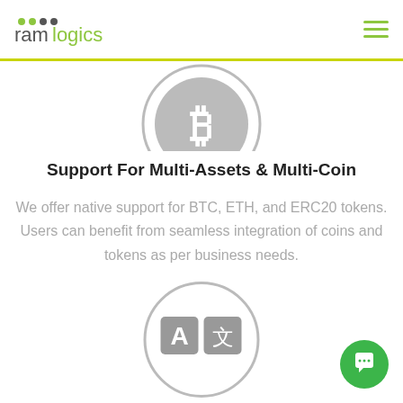ramlogics
[Figure (illustration): Partially visible grey circle with Bitcoin symbol icon at top of page]
Support For Multi-Assets & Multi-Coin
We offer native support for BTC, ETH, and ERC20 tokens. Users can benefit from seamless integration of coins and tokens as per business needs.
[Figure (illustration): Grey circle with translation icon (letter A and Chinese character) inside]